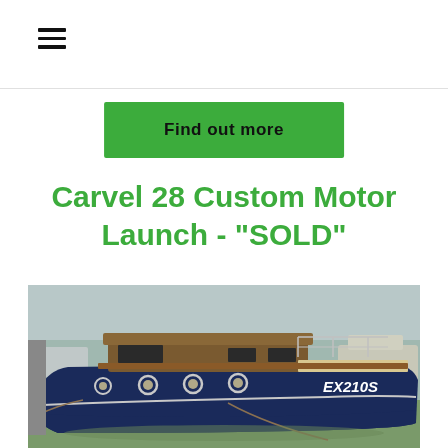☰ (hamburger menu icon)
Find out more
Carvel 28 Custom Motor Launch - "SOLD"
[Figure (photo): A classic wooden motor launch named EX210S moored at a marina. The boat has a dark navy blue hull with round portholes, natural timber cabin, and chrome railings. The registration EX210S is visible on the bow. The boat is surrounded by green water and other vessels are visible in the background.]